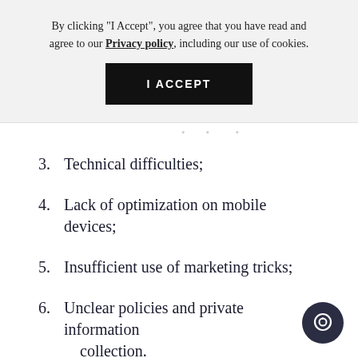By clicking "I Accept", you agree that you have read and agree to our Privacy policy, including our use of cookies.
I ACCEPT
...
3.  Technical difficulties;
4.  Lack of optimization on mobile devices;
5.  Insufficient use of marketing tricks;
6.  Unclear policies and private information collection.
Let’s move to the first one and dive deeper into outcome of it.